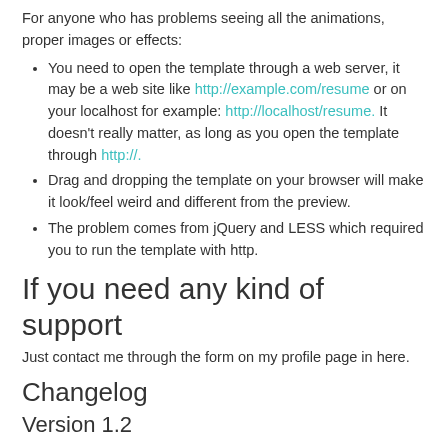For anyone who has problems seeing all the animations, proper images or effects:
You need to open the template through a web server, it may be a web site like http://example.com/resume or on your localhost for example: http://localhost/resume. It doesn't really matter, as long as you open the template through http://.
Drag and dropping the template on your browser will make it look/feel weird and different from the preview.
The problem comes from jQuery and LESS which required you to run the template with http.
If you need any kind of support
Just contact me through the form on my profile page in here.
Changelog
Version 1.2